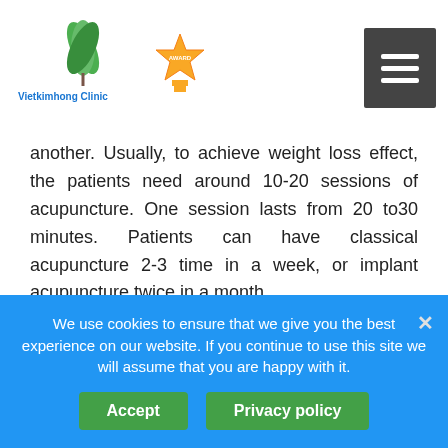[Figure (logo): Vietkimhong Clinic logo with green leaves and gold award badge]
another. Usually, to achieve weight loss effect, the patients need around 10-20 sessions of acupuncture. One session lasts from 20 to30 minutes. Patients can have classical acupuncture 2-3 time in a week, or implant acupuncture twice in a month.
Weight loss by acupuncture is the best choice for whom?
Those who do not have sufficient time for sport or excercise.
People who want to avoid other methods
We use cookies to ensure that we give you the best experience on our website. If you continue to use this site we will assume that you are happy with it.